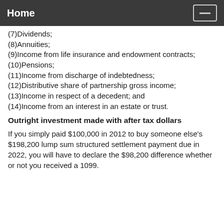Home
(7)Dividends;
(8)Annuities;
(9)Income from life insurance and endowment contracts;
(10)Pensions;
(11)Income from discharge of indebtedness;
(12)Distributive share of partnership gross income;
(13)Income in respect of a decedent; and
(14)Income from an interest in an estate or trust.
Outright investment made with after tax dollars
If you simply paid $100,000 in 2012 to buy someone else's $198,200 lump sum structured settlement payment due in 2022, you will have to declare the $98,200 difference whether or not you received a 1099.